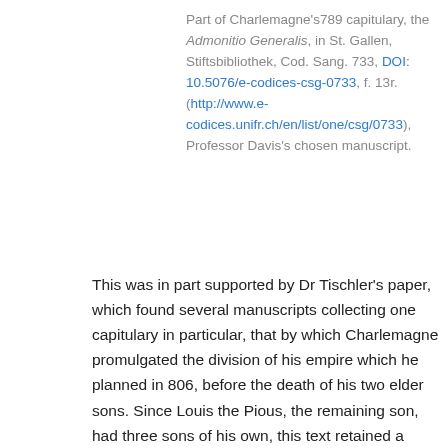Part of Charlemagne's789 capitulary, the Admonitio Generalis, in St. Gallen, Stiftsbibliothek, Cod. Sang. 733, DOI: 10.5076/e-codices-csg-0733, f. 13r. (http://www.e-codices.unifr.ch/en/list/one/csg/0733), Professor Davis's chosen manuscript.
This was in part supported by Dr Tischler's paper, which found several manuscripts collecting one capitulary in particular, that by which Charlemagne promulgated the division of his empire which he planned in 806, before the death of his two elder sons. Since Louis the Pious, the remaining son, had three sons of his own, this text retained a worrying relevance and Dr Tischler thought he could identify several of the people worrying from the provenance and contents of